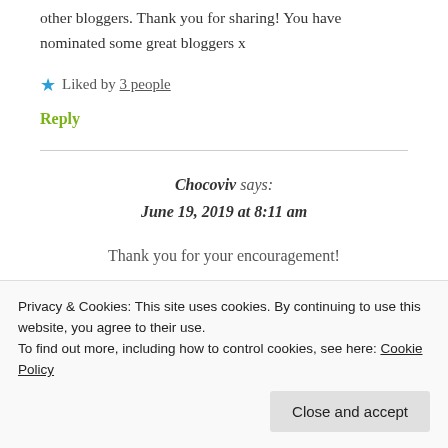other bloggers. Thank you for sharing! You have nominated some great bloggers x
★ Liked by 3 people
Reply
Chocoviv says: June 19, 2019 at 8:11 am
Thank you for your encouragement!
Privacy & Cookies: This site uses cookies. By continuing to use this website, you agree to their use. To find out more, including how to control cookies, see here: Cookie Policy